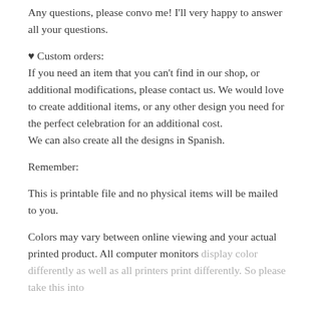Any questions, please convo me! I'll very happy to answer all your questions.
♥ Custom orders:
If you need an item that you can't find in our shop, or additional modifications, please contact us. We would love to create additional items, or any other design you need for the perfect celebration for an additional cost.
We can also create all the designs in Spanish.
Remember:
This is printable file and no physical items will be mailed to you.
Colors may vary between online viewing and your actual printed product. All computer monitors display color differently as well as all printers print differently. So please take this into